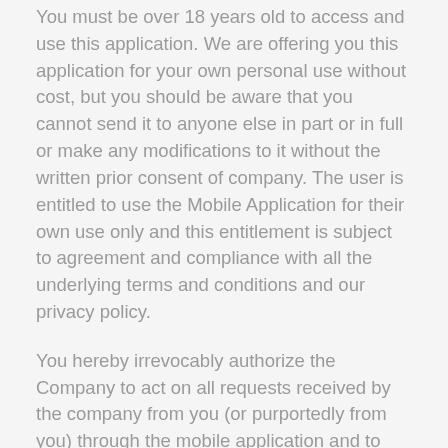You must be over 18 years old to access and use this application. We are offering you this application for your own personal use without cost, but you should be aware that you cannot send it to anyone else in part or in full or make any modifications to it without the written prior consent of company. The user is entitled to use the Mobile Application for their own use only and this entitlement is subject to agreement and compliance with all the underlying terms and conditions and our privacy policy.
You hereby irrevocably authorize the Company to act on all requests received by the company from you (or purportedly from you) through the mobile application and to hold you liable in respect thereof.
In consideration of The Company complying with your instructions or Requests from the application, you undertake to indemnify the company and hold it harmless against any loss, charge, damage, expense, fee or claim which the company suffers or incurs or sustains thereby and you absolve the company from all liability for loss or damage which you may sustain from the company acting